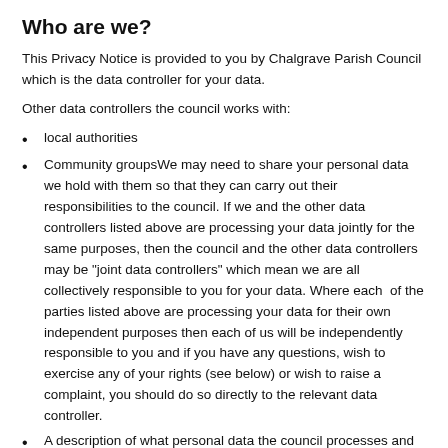Who are we?
This Privacy Notice is provided to you by Chalgrave Parish Council which is the data controller for your data.
Other data controllers the council works with:
local authorities
Community groupsWe may need to share your personal data we hold with them so that they can carry out their responsibilities to the council. If we and the other data controllers listed above are processing your data jointly for the same purposes, then the council and the other data controllers may be “joint data controllers” which mean we are all collectively responsible to you for your data. Where each  of the parties listed above are processing your data for their own independent purposes then each of us will be independently responsible to you and if you have any questions, wish to exercise any of your rights (see below) or wish to raise a complaint, you should do so directly to the relevant data controller.
A description of what personal data the council processes and for